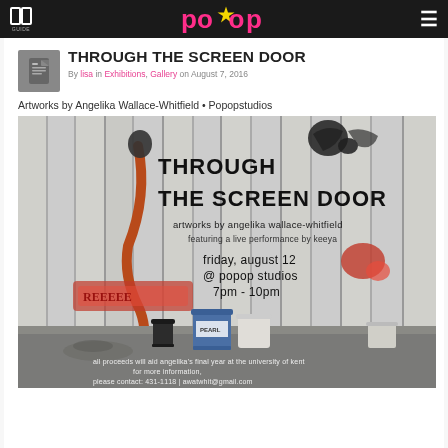popop
THROUGH THE SCREEN DOOR
By lisa in Exhibitions, Gallery on August 7, 2016
Artworks by Angelika Wallace-Whitfield • Popopstudios
[Figure (photo): Exhibition flyer for 'Through the Screen Door' artworks by Angelika Wallace-Whitfield, featuring a live performance by Keeya, friday august 12 @ popop studios 7pm-10pm. Photo shows painted wood planks with paint cans and supplies on the floor. Text notes all proceeds will aid Angelika's final year at the University of Kent, contact 431-1118 | awatwhit@gmail.com]